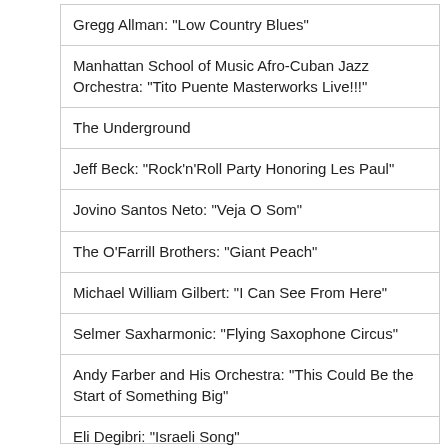Gregg Allman: "Low Country Blues"
Manhattan School of Music Afro-Cuban Jazz Orchestra: "Tito Puente Masterworks Live!!!"
The Underground
Jeff Beck: "Rock'n'Roll Party Honoring Les Paul"
Jovino Santos Neto: "Veja O Som"
The O'Farrill Brothers: "Giant Peach"
Michael William Gilbert: "I Can See From Here"
Selmer Saxharmonic: "Flying Saxophone Circus"
Andy Farber and His Orchestra: "This Could Be the Start of Something Big"
Eli Degibri: "Israeli Song"
Jazz Shortlist